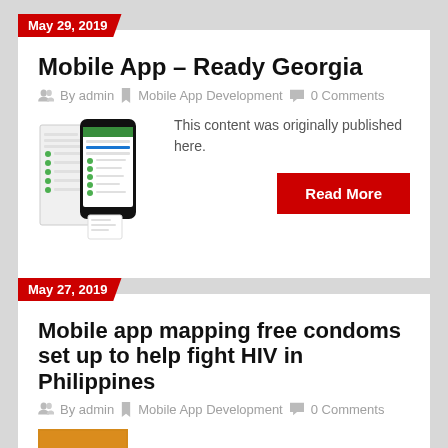May 29, 2019
Mobile App – Ready Georgia
By admin   Mobile App Development   0 Comments
This content was originally published here.
Read More
May 27, 2019
Mobile app mapping free condoms set up to help fight HIV in Philippines
By admin   Mobile App Development   0 Comments